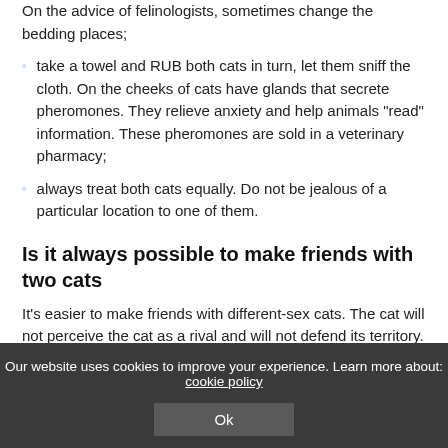the smell. After 1-2 nights of sleep, put a new cat in the box. On the advice of felinologists, sometimes change the bedding places;
take a towel and RUB both cats in turn, let them sniff the cloth. On the cheeks of cats have glands that secrete pheromones. They relieve anxiety and help animals “read” information. These pheromones are sold in a veterinary pharmacy;
always treat both cats equally. Do not be jealous of a particular location to one of them.
Is it always possible to make friends with two cats
It’s easier to make friends with different-sex cats. The cat will not perceive the cat as a rival and will not defend its territory. All
Our website uses cookies to improve your experience. Learn more about: cookie policy
Ok